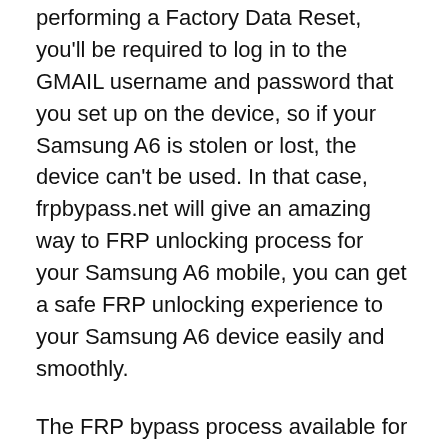performing a Factory Data Reset, you'll be required to log in to the GMAIL username and password that you set up on the device, so if your Samsung A6 is stolen or lost, the device can't be used. In that case, frpbypass.net will give an amazing way to FRP unlocking process for your Samsung A6 mobile, you can get a safe FRP unlocking experience to your Samsung A6 device easily and smoothly.
The FRP bypass process available for free and you can use the FRP bypass app tool compatible with your device and we have brought the latest FRP Bypass APK which can